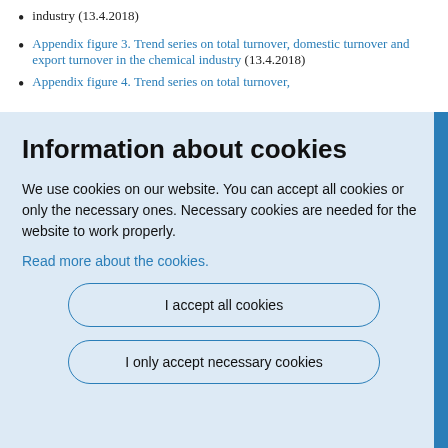industry (13.4.2018)
Appendix figure 3. Trend series on total turnover, domestic turnover and export turnover in the chemical industry (13.4.2018)
Appendix figure 4. Trend series on total turnover,
Information about cookies
We use cookies on our website. You can accept all cookies or only the necessary ones. Necessary cookies are needed for the website to work properly.
Read more about the cookies.
I accept all cookies
I only accept necessary cookies